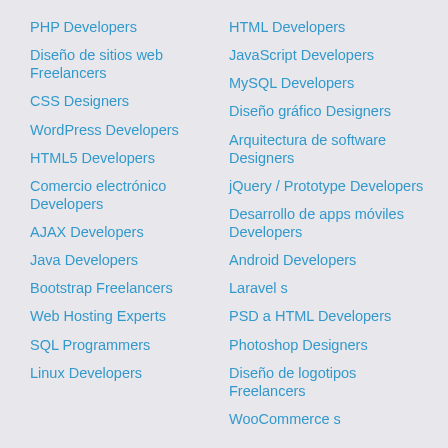PHP Developers
Diseño de sitios web Freelancers
CSS Designers
WordPress Developers
HTML5 Developers
Comercio electrónico Developers
AJAX Developers
Java Developers
Bootstrap Freelancers
Web Hosting Experts
SQL Programmers
Linux Developers
HTML Developers
JavaScript Developers
MySQL Developers
Diseño gráfico Designers
Arquitectura de software Designers
jQuery / Prototype Developers
Desarrollo de apps móviles Developers
Android Developers
Laravel s
PSD a HTML Developers
Photoshop Designers
Diseño de logotipos Freelancers
WooCommerce s